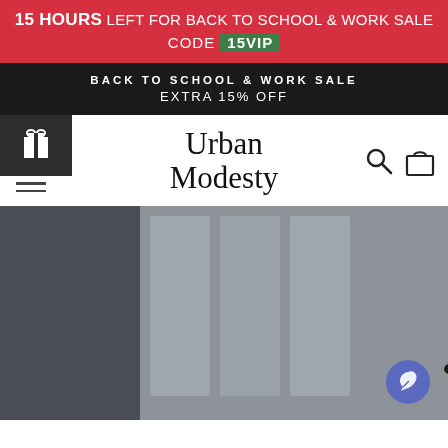15 HOURS LEFT FOR BACK TO SCHOOL & WORK SALE CODE 15VIP
BACK TO SCHOOL & WORK SALE EXTRA 15% OFF
[Figure (logo): Urban Modesty brand logo with gift icon, hamburger menu, search and cart icons]
[Figure (photo): Woman wearing black hijab and black abaya standing outdoors near glass doors, smiling]